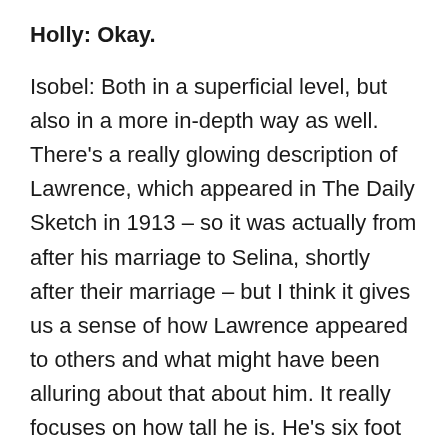Holly: Okay.
Isobel: Both in a superficial level, but also in a more in-depth way as well. There's a really glowing description of Lawrence, which appeared in The Daily Sketch in 1913 – so it was actually from after his marriage to Selina, shortly after their marriage – but I think it gives us a sense of how Lawrence appeared to others and what might have been alluring about that about him. It really focuses on how tall he is. He's six foot three and a half inches tall, but he doesn't move awkwardly. He carries his inches really well. They say there's something winning about this young giant. And he has a charming platform manner because they're describing him speaking in his when he stood for the Altrincham election. They say he's boyish. He's charmingly frank. He has a wonderful smile which captivates the watchers. It